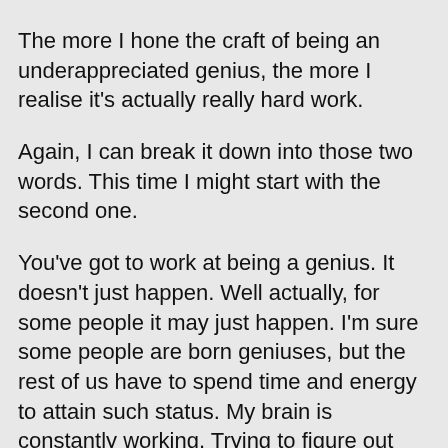The more I hone the craft of being an underappreciated genius, the more I realise it's actually really hard work.
Again, I can break it down into those two words. This time I might start with the second one.
You've got to work at being a genius. It doesn't just happen. Well actually, for some people it may just happen. I'm sure some people are born geniuses, but the rest of us have to spend time and energy to attain such status. My brain is constantly working. Trying to figure out new stories. Trying to write the stories I've just thought about. Trying to make the stories I've just written after previously thinking about them into something really shiny and special. It just never ends, I can tell you. The pressure to keep being a genius regularly keeps me awake at night.
Then there's the other component. The underappreciated bit. I reckon this is the bit that's even harder. That's the one where you check your book sales and find not a